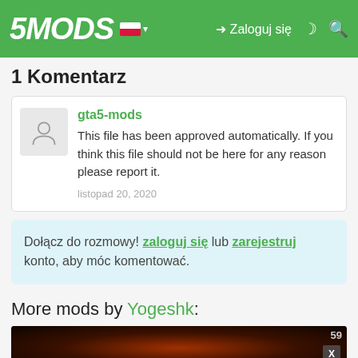5MODS — Zaloguj się
1 Komentarz
gta5-mods
This file has been approved automatically. If you think this file should not be here for any reason please report it.
listopad 20, 2020
Dołącz do rozmowy! zaloguj się lub zarejestruj konto, aby móc komentować.
More mods by Yogeshk:
[Figure (screenshot): Dark atmospheric scene with advertisement overlay for House of the Dragon on HBO Max]